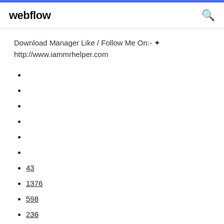webflow
Download Manager Like / Follow Me On:- ✪
http://www.iammrhelper.com
43
1376
598
236